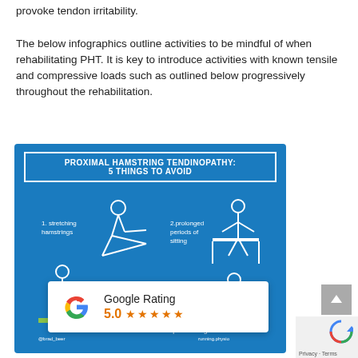provoke tendon irritability.

The below infographics outline activities to be mindful of when rehabilitating PHT. It is key to introduce activities with known tensile and compressive loads such as outlined below progressively throughout the rehabilitation.
[Figure (infographic): Blue infographic titled 'PROXIMAL HAMSTRING TENDINOPATHY: 5 THINGS TO AVOID' showing 5 illustrated activities to avoid: 1. stretching hamstrings, 2. prolonged periods of sitting, 3. fast walking, 4. (partially covered), 5. uphill running]
[Figure (other): Google Rating overlay showing 5.0 stars with Google G logo]